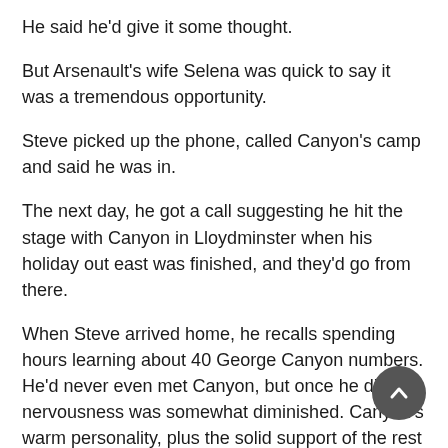He said he’d give it some thought.
But Arsenault’s wife Selena was quick to say it was a tremendous opportunity.
Steve picked up the phone, called Canyon’s camp and said he was in.
The next day, he got a call suggesting he hit the stage with Canyon in Lloydminster when his holiday out east was finished, and they’d go from there.
When Steve arrived home, he recalls spending hours learning about 40 George Canyon numbers. He’d never even met Canyon, but once he did the nervousness was somewhat diminished. Canyon’s warm personality, plus the solid support of the rest of the band, was reassuring.